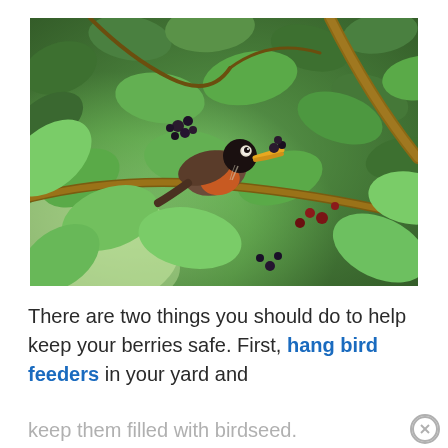[Figure (photo): A robin bird perched among green leafy branches with mulberries, holding berries in its beak. The bird has a dark head, orange-red breast, and is surrounded by lush green foliage.]
There are two things you should do to help keep your berries safe. First, hang bird feeders in your yard and keep them filled with birdseed.